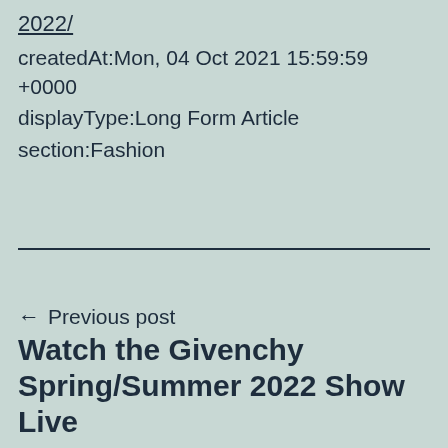2022/
createdAt:Mon, 04 Oct 2021 15:59:59 +0000
displayType:Long Form Article
section:Fashion
← Previous post
Watch the Givenchy Spring/Summer 2022 Show Live